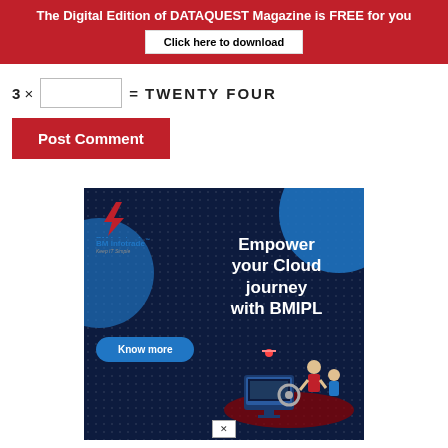The Digital Edition of DATAQUEST Magazine is FREE for you
Click here to download
3 × [input box] = TWENTY FOUR
Post Comment
[Figure (illustration): BM Infotrade advertisement banner with dark navy blue background, blue circles, BM Infotrade logo, text 'Empower your Cloud journey with BMIPL', a 'Know more' button, and an isometric cloud technology illustration with figures.]